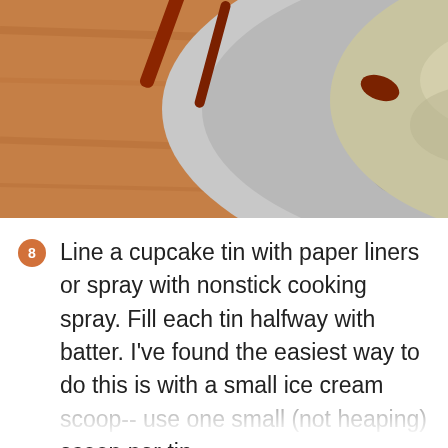[Figure (photo): A stainless steel mixing bowl viewed from above on a wooden surface, containing pale green-yellow cookie dough or batter being mixed with a dark red/maroon mixer attachment.]
Line a cupcake tin with paper liners or spray with nonstick cooking spray. Fill each tin halfway with batter. I've found the easiest way to do this is with a small ice cream scoop-- use one small (not heaping) scoop per tin.